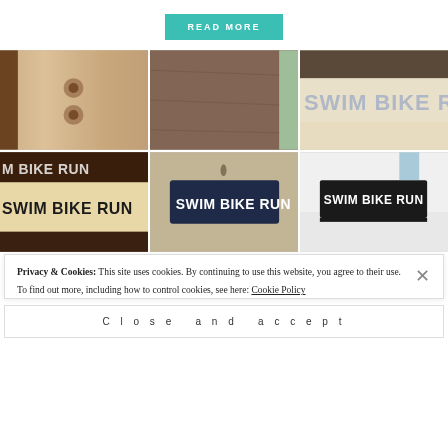READ MORE
[Figure (photo): Grid of 6 photos showing DIY 'SWIM BIKE RUN' sign in various stages of construction and finished versions in different colors (natural wood, navy, black).]
Privacy & Cookies: This site uses cookies. By continuing to use this website, you agree to their use.
To find out more, including how to control cookies, see here: Cookie Policy
Close and accept